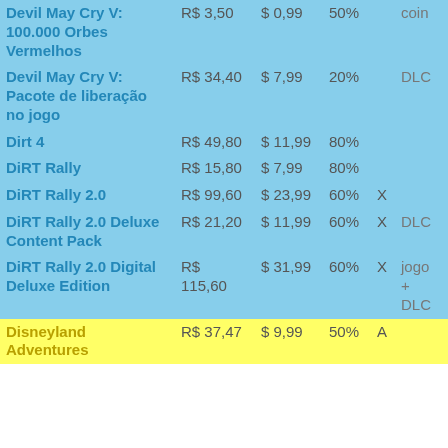| Name | BRL | USD | Disc | Flag | Type | Extra |
| --- | --- | --- | --- | --- | --- | --- |
| Devil May Cry V: 100.000 Orbes Vermelhos | R$ 3,50 | $ 0,99 | 50% |  | coin |  |
| Devil May Cry V: Pacote de liberação no jogo | R$ 34,40 | $ 7,99 | 20% |  | DLC |  |
| Dirt 4 | R$ 49,80 | $ 11,99 | 80% |  |  |  |
| DiRT Rally | R$ 15,80 | $ 7,99 | 80% |  |  |  |
| DiRT Rally 2.0 | R$ 99,60 | $ 23,99 | 60% | X |  |  |
| DiRT Rally 2.0 Deluxe Content Pack | R$ 21,20 | $ 11,99 | 60% | X | DLC |  |
| DiRT Rally 2.0 Digital Deluxe Edition | R$ 115,60 | $ 31,99 | 60% | X | jogo + DLC |  |
| Disneyland Adventures | R$ 37,47 | $ 9,99 | 50% | A |  | R$ 48,7 |